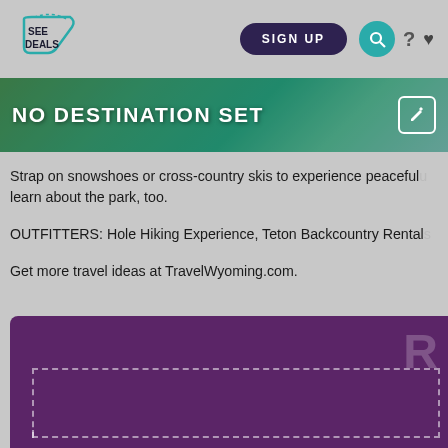[Figure (logo): SeeDeals logo with teal mountain/tag outline icon and dark text 'SEE DEALS']
SIGN UP
NO DESTINATION SET
Strap on snowshoes or cross-country skis to experience peaceful... learn about the park, too.
OUTFITTERS: Hole Hiking Experience, Teton Backcountry Rental...
Get more travel ideas at TravelWyoming.com.
[Figure (screenshot): Purple card section at the bottom with a large 'R' letter partially visible and a dashed rectangle outline]